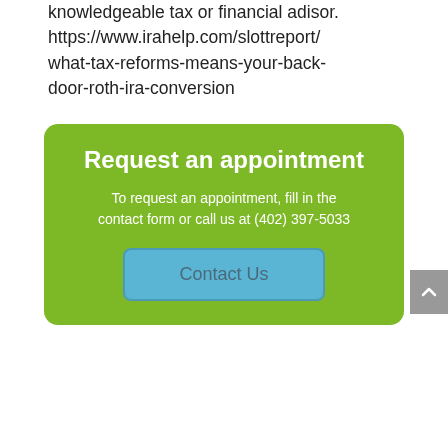knowledgeable tax or financial adisor. https://www.irahelp.com/slottreport/what-tax-reforms-means-your-back-door-roth-ira-conversion
Request an appointment
To request an appointment, fill in the contact form or call us at (402) 397-5033
Contact Us